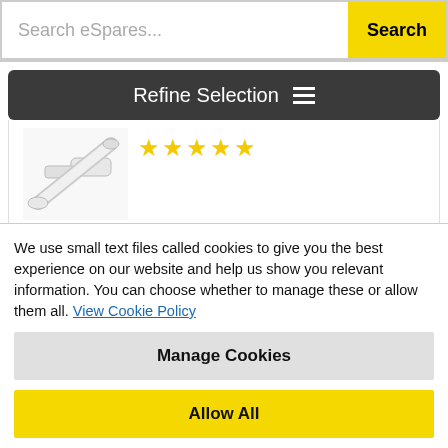Search eSpares...  Search
Refine Selection ≡
[Figure (photo): Product image of white hose/tube spare part for tumble dryer, with 5 yellow star rating below]
Genuine spare part for select Bosch, Siemens and Balay tumble dryers
More information»
In Stock
Stock Number ES1086729   £22.04
We use small text files called cookies to give you the best experience on our website and help us show you relevant information. You can choose whether to manage these or allow them all. View Cookie Policy
Manage Cookies
Allow All